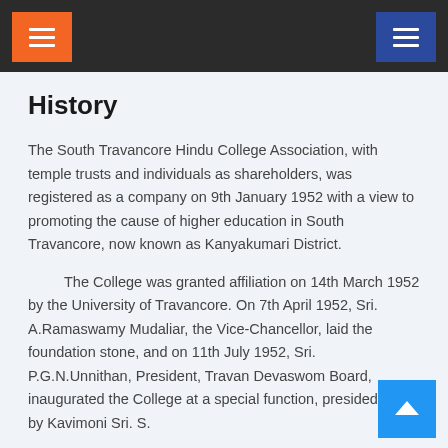[Figure (screenshot): Dark navigation bar with orange hamburger menu icon on left and blue hamburger menu icon on right]
History
The South Travancore Hindu College Association, with temple trusts and individuals as shareholders, was registered as a company on 9th January 1952 with a view to promoting the cause of higher education in South Travancore, now known as Kanyakumari District.
The College was granted affiliation on 14th March 1952 by the University of Travancore. On 7th April 1952, Sri. A.Ramaswamy Mudaliar, the Vice-Chancellor, laid the foundation stone, and on 11th July 1952, Sri. P.G.N.Unnithan, President, Travancore Devaswom Board, inaugurated the College at a special function, presided over by Kavimoni Sri. S.